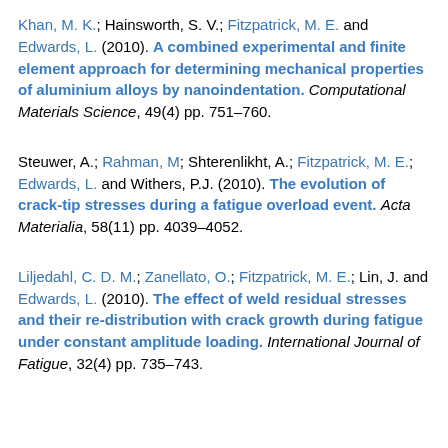Khan, M. K.; Hainsworth, S. V.; Fitzpatrick, M. E. and Edwards, L. (2010). A combined experimental and finite element approach for determining mechanical properties of aluminium alloys by nanoindentation. Computational Materials Science, 49(4) pp. 751–760.
Steuwer, A.; Rahman, M; Shterenlikht, A.; Fitzpatrick, M. E.; Edwards, L. and Withers, P.J. (2010). The evolution of crack-tip stresses during a fatigue overload event. Acta Materialia, 58(11) pp. 4039–4052.
Liljedahl, C. D. M.; Zanellato, O.; Fitzpatrick, M. E.; Lin, J. and Edwards, L. (2010). The effect of weld residual stresses and their re-distribution with crack growth during fatigue under constant amplitude loading. International Journal of Fatigue, 32(4) pp. 735–743.